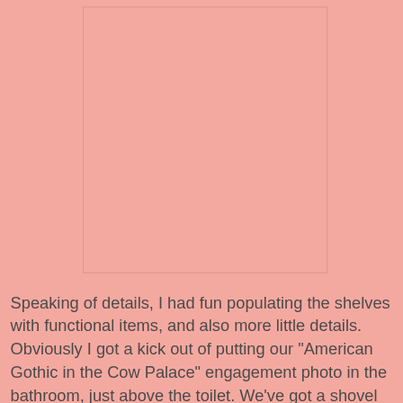[Figure (photo): Image placeholder at top right, appears as empty rectangle with border on pink background]
Speaking of details, I had fun populating the shelves with functional items, and also more little details. Obviously I got a kick out of putting our "American Gothic in the Cow Palace" engagement photo in the bathroom, just above the toilet. We've got a shovel and a pitchfork just in case things....happen.
[Figure (photo): Image placeholder at bottom left, appears as empty rectangle with broken image icon on pink background]